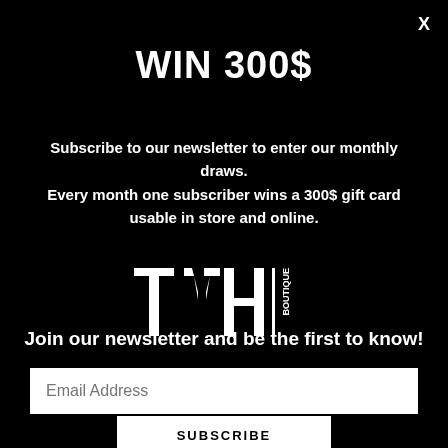WIN 300$
Subscribe to our newsletter to enter our monthly draws. Every month one subscriber wins a 300$ gift card usable in store and online.
[Figure (logo): TYH Boutique logo in white on black background — large block letters T Y H with vertical bar and 'BOUTIQUE' written vertically]
Join our newsletter and be the first to know!
Email Address
SUBSCRIBE